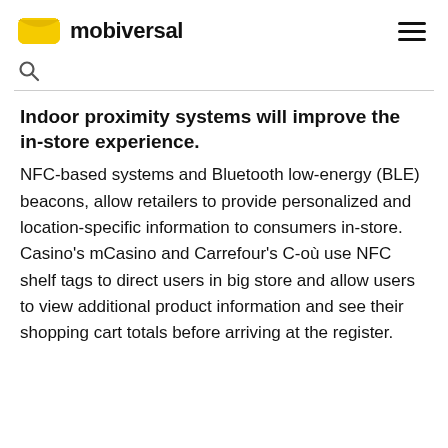mobiversal
Indoor proximity systems will improve the in-store experience.
NFC-based systems and Bluetooth low-energy (BLE) beacons, allow retailers to provide personalized and location-specific information to consumers in-store. Casino’s mCasino and Carrefour’s C-où use NFC shelf tags to direct users in big store and allow users to view additional product information and see their shopping cart totals before arriving at the register.